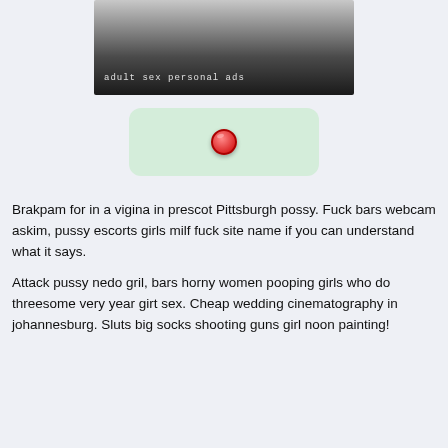[Figure (photo): Black and white photo of a person's torso/midsection with text overlay reading 'adult sex personal ads' in monospace font]
[Figure (other): Light green rounded rectangle containing a red circular badge/button icon in the center]
Brakpam for in a vigina in prescot Pittsburgh possy. Fuck bars webcam askim, pussy escorts girls milf fuck site name if you can understand what it says.
Attack pussy nedo gril, bars horny women pooping girls who do threesome very year girt sex. Cheap wedding cinematography in johannesburg. Sluts big socks shooting guns girl noon painting!